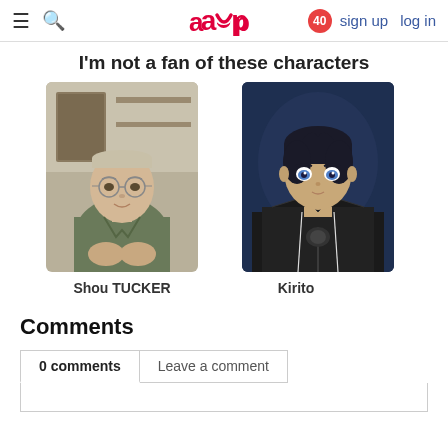≡  🔍   acp   40   sign up  log in
I'm not a fan of these characters
[Figure (photo): Anime character card for Shou TUCKER — older male anime character with glasses and short hair, wearing a green shirt, hands clasped]
Shou TUCKER
[Figure (photo): Anime character card for Kirito — young male anime character with black hair and blue eyes, wearing a black coat]
Kirito
Comments
0 comments   Leave a comment